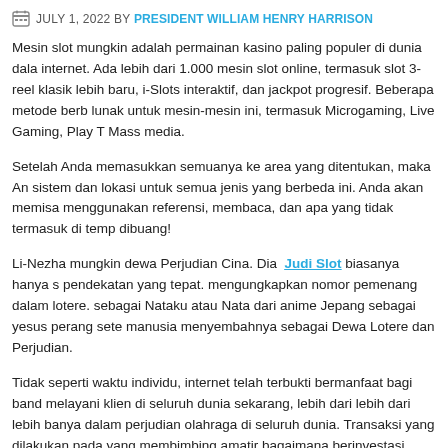JULY 1, 2022 BY PRESIDENT WILLIAM HENRY HARRISON
Mesin slot mungkin adalah permainan kasino paling populer di dunia dalam internet. Ada lebih dari 1.000 mesin slot online, termasuk slot 3-reel klasik lebih baru, i-Slots interaktif, dan jackpot progresif. Beberapa metode berbeda lunak untuk mesin-mesin ini, termasuk Microgaming, Live Gaming, Play T Mass media.
Setelah Anda memasukkan semuanya ke area yang ditentukan, maka Anda sistem dan lokasi untuk semua jenis yang berbeda ini. Anda akan memisa menggunakan referensi, membaca, dan apa yang tidak termasuk di temp dibuang!
Li-Nezha mungkin dewa Perjudian Cina. Dia Judi Slot biasanya hanya s pendekatan yang tepat. mengungkapkan nomor pemenang dalam lotere. sebagai Nataku atau Nata dari anime Jepang sebagai yesus perang sete manusia menyembahnya sebagai Dewa Lotere dan Perjudian.
Tidak seperti waktu individu, internet telah terbukti bermanfaat bagi banda melayani klien di seluruh dunia sekarang, lebih dari lebih dari lebih banya dalam perjudian olahraga di seluruh dunia. Transaksi yang dilakukan pada yang membimbing amatir bagaimana berinvestasi dengan bijak dalam pe hasil maksimal.